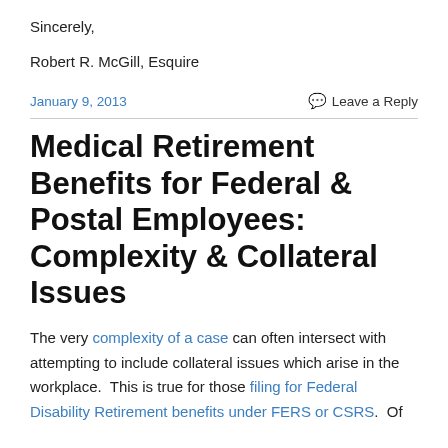Sincerely,
Robert R. McGill, Esquire
January 9, 2013
Leave a Reply
Medical Retirement Benefits for Federal & Postal Employees: Complexity & Collateral Issues
The very complexity of a case can often intersect with attempting to include collateral issues which arise in the workplace.  This is true for those filing for Federal Disability Retirement benefits under FERS or CSRS.  Of